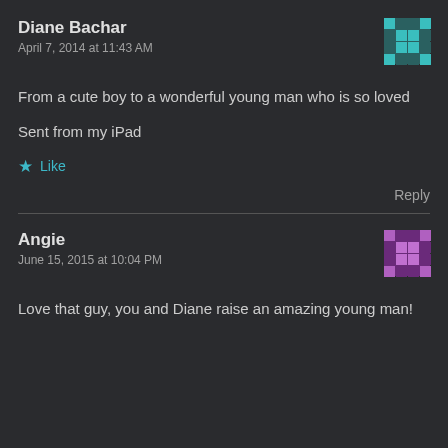Diane Bachar
April 7, 2014 at 11:43 AM
From a cute boy to a wonderful young man who is so loved
Sent from my iPad
Like
Reply
Angie
June 15, 2015 at 10:04 PM
Love that guy, you and Diane raise an amazing young man!